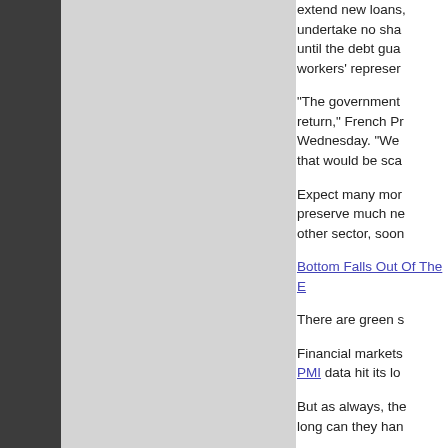extend new loans, undertake no share... until the debt guar... workers' represent...
"The government b... return," French Pri... Wednesday. "We a... that would be scar...
Expect many more such b... preserve much needed vot... other sector, soon to follo...
Bottom Falls Out Of The E...
There are green shoots in...
Financial markets are doin... PMI data hit its lowest leve...
But as always, the biggest... long can they handle dism...
New data from Eurostat p... of October.
In October 2012 compared... area (EA17) and by 1.1% i... the European Union. In Se... 2012, compared with Octo...